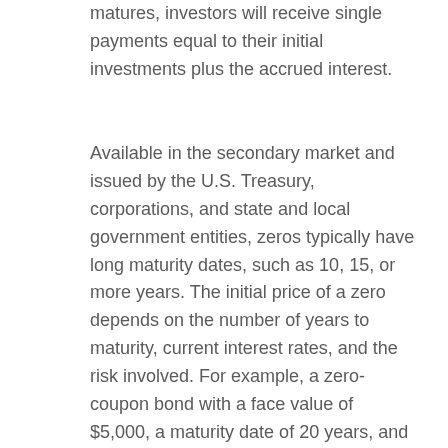matures, investors will receive single payments equal to their initial investments plus the accrued interest.
Available in the secondary market and issued by the U.S. Treasury, corporations, and state and local government entities, zeros typically have long maturity dates, such as 10, 15, or more years. The initial price of a zero depends on the number of years to maturity, current interest rates, and the risk involved. For example, a zero-coupon bond with a face value of $5,000, a maturity date of 20 years, and a 5% interest rate might cost only a few hundred dollars. When the bond matures, the bondholder receives the face value of the bond ($5,000 in this case), barring default.
The value of zero-coupon bonds is subject to market fluctuations. Because these bonds do not pay interest until maturity, their prices tend to be more volatile than are bonds that make regular interest payments. Interest income is subject to ordinary...